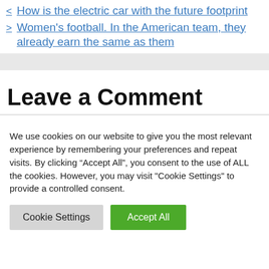< How is the electric car with the future footprint
> Women's football. In the American team, they already earn the same as them
Leave a Comment
We use cookies on our website to give you the most relevant experience by remembering your preferences and repeat visits. By clicking “Accept All”, you consent to the use of ALL the cookies. However, you may visit "Cookie Settings" to provide a controlled consent.
Cookie Settings | Accept All